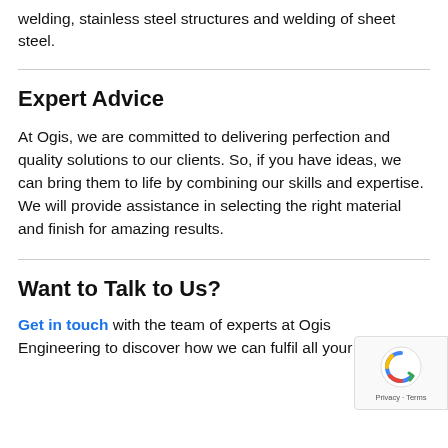welding, stainless steel structures and welding of sheet steel.
Expert Advice
At Ogis, we are committed to delivering perfection and quality solutions to our clients. So, if you have ideas, we can bring them to life by combining our skills and expertise. We will provide assistance in selecting the right material and finish for amazing results.
Want to Talk to Us?
Get in touch with the team of experts at Ogis Engineering to discover how we can fulfil all your